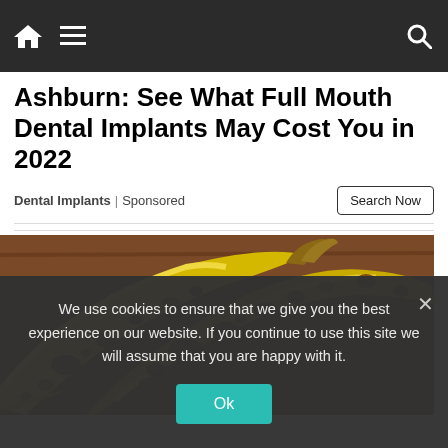Navigation bar with home icon, menu icon, and search icon
Ashburn: See What Full Mouth Dental Implants May Cost You in 2022
Dental Implants | Sponsored
[Figure (photo): Close-up photo of overripe spotted bananas with brown spots on yellow skin, lying on a wooden surface]
We use cookies to ensure that we give you the best experience on our website. If you continue to use this site we will assume that you are happy with it.